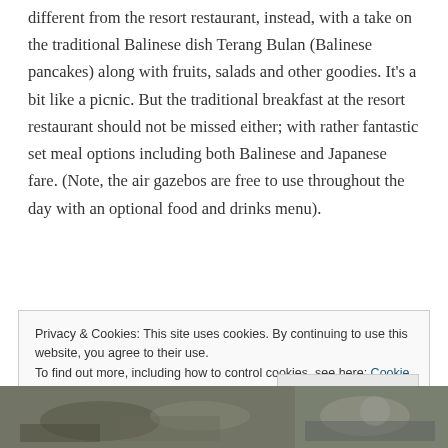different from the resort restaurant, instead, with a take on the traditional Balinese dish Terang Bulan (Balinese pancakes) along with fruits, salads and other goodies. It's a bit like a picnic. But the traditional breakfast at the resort restaurant should not be missed either; with rather fantastic set meal options including both Balinese and Japanese fare. (Note, the air gazebos are free to use throughout the day with an optional food and drinks menu).
Privacy & Cookies: This site uses cookies. By continuing to use this website, you agree to their use.
To find out more, including how to control cookies, see here: Cookie Policy
Close and accept
[Figure (photo): Two photos side by side at the bottom of the page showing food/dining scenes]